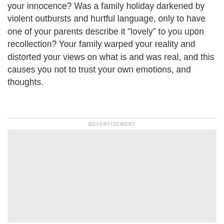your innocence? Was a family holiday darkened by violent outbursts and hurtful language, only to have one of your parents describe it “lovely” to you upon recollection? Your family warped your reality and distorted your views on what is and was real, and this causes you not to trust your own emotions, and thoughts.
[Figure (other): Advertisement placeholder box with gray background and ADVERTISEMENT label above it]